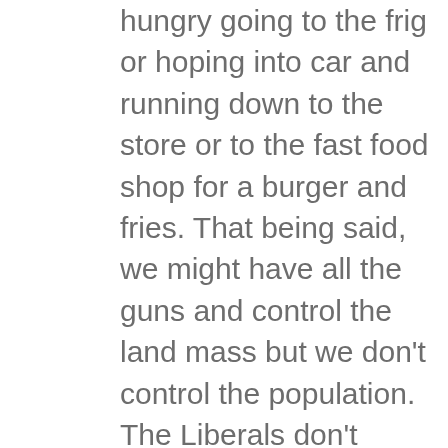hungry going to the frig or hoping into car and running down to the store or to the fast food shop for a burger and fries. That being said, we might have all the guns and control the land mass but we don't control the population. The Liberals don't have to control the number of guns, they're all ready destroying the Normal People. They've murdered over 50,000,000 million babies, they've destroyed businesses and fined people 135,000 dollars because they wouldn't sell a cake to Perverts. Ever notice the LIBS never want to execute a cold blooded murderer but want to blame the gun, thousands of murders a year and maybe one or two executions. Now the most populace States like Cal, and Ill. and New York and Florida and to many to list have passed unconstitutional laws violating the 2nd Amendment and what good has our guns done for us. But if and when the time comes